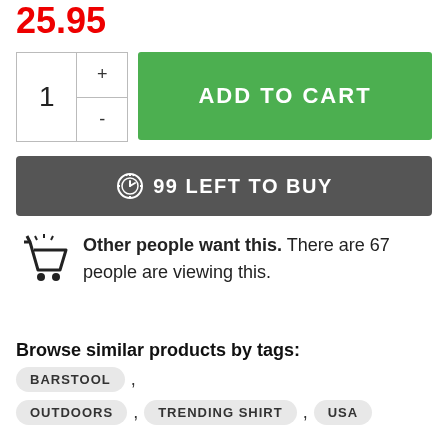25.95
[Figure (other): Add to cart UI with quantity selector (showing 1 with + and - controls) and green ADD TO CART button]
⏰ 99 LEFT TO BUY
Other people want this. There are 67 people are viewing this.
Browse similar products by tags: BARSTOOL , OUTDOORS , TRENDING SHIRT , USA